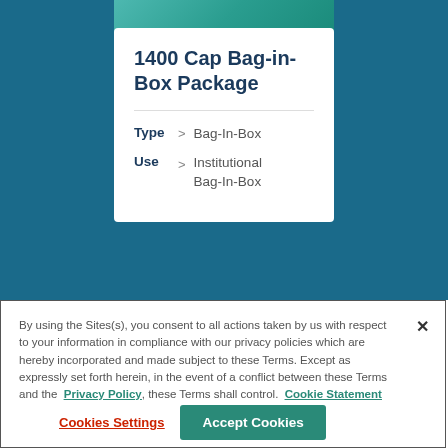1400 Cap Bag-in-Box Package
Type > Bag-In-Box
Use > Institutional Bag-In-Box
By using the Sites(s), you consent to all actions taken by us with respect to your information in compliance with our privacy policies which are hereby incorporated and made subject to these Terms. Except as expressly set forth herein, in the event of a conflict between these Terms and the Privacy Policy, these Terms shall control. Cookie Statement
Cookies Settings
Accept Cookies